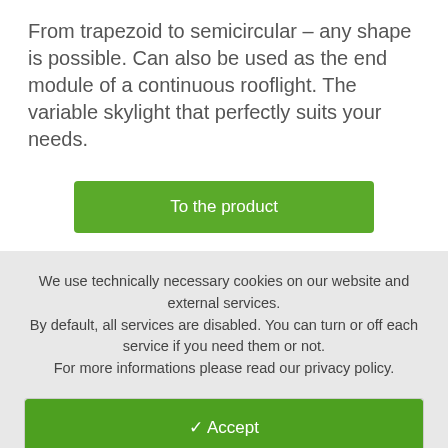From trapezoid to semicircular – any shape is possible. Can also be used as the end module of a continuous rooflight. The variable skylight that perfectly suits your needs.
To the product
We use technically necessary cookies on our website and external services. By default, all services are disabled. You can turn or off each service if you need them or not. For more informations please read our privacy policy.
✓ Accept
Customize